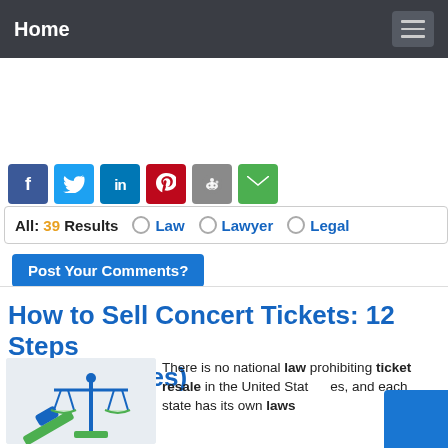Home
[Figure (screenshot): Social share buttons: Facebook, Twitter, LinkedIn, Pinterest, Reddit, Email]
All: 39 Results   ○ Law   ○ Lawyer   ○ Legal
Post Your Comments?
How to Sell Concert Tickets: 12 Steps (with Pictures)
There is no national law prohibiting ticket resale in the United States, and each state has its own laws